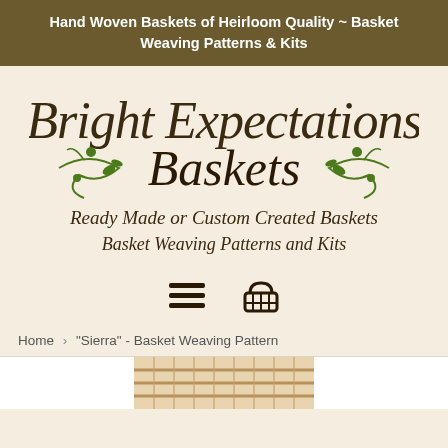Hand Woven Baskets of Heirloom Quality ~ Basket Weaving Patterns & Kits
[Figure (logo): Bright Expectations Baskets logo with decorative green vine flourishes and script text reading 'Ready Made or Custom Created Baskets, Basket Weaving Patterns and Kits']
[Figure (infographic): Navigation icons: hamburger menu icon and shopping basket/cart icon]
Home › "Sierra" - Basket Weaving Pattern
[Figure (photo): Partial view of a woven basket, bottom cropped]